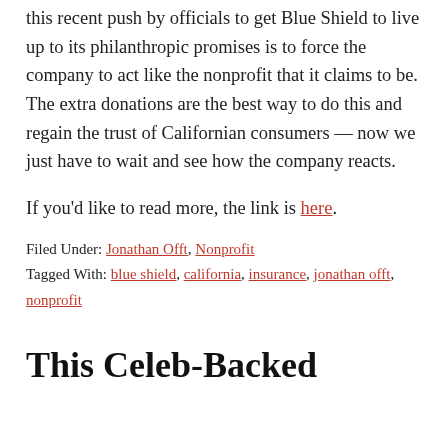this recent push by officials to get Blue Shield to live up to its philanthropic promises is to force the company to act like the nonprofit that it claims to be. The extra donations are the best way to do this and regain the trust of Californian consumers — now we just have to wait and see how the company reacts.
If you'd like to read more, the link is here.
Filed Under: Jonathan Offt, Nonprofit
Tagged With: blue shield, california, insurance, jonathan offt, nonprofit
This Celeb-Backed